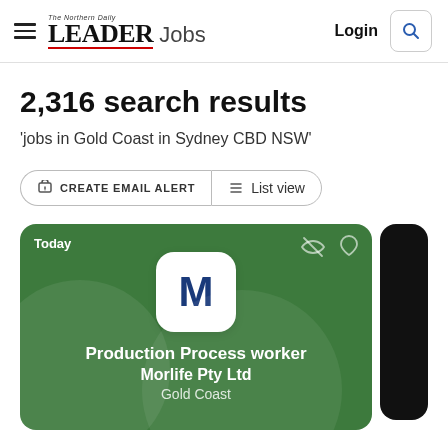The Northern Daily LEADER Jobs | Login
2,316 search results
'jobs in Gold Coast in Sydney CBD NSW'
CREATE EMAIL ALERT  List view
[Figure (screenshot): Job listing card for 'Production Process worker' at Morlife Pty Ltd, Gold Coast. Green card with company logo 'M', posted Today.]